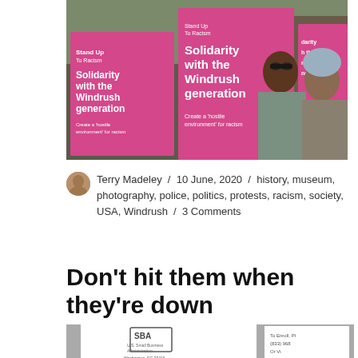[Figure (photo): Protest photo showing people holding pink 'Solidarity with the Windrush generation' signs from Stand Up To Racism campaign. Multiple protesters visible including women of African descent.]
Terry Madeley / 10 June, 2020 / history, museum, photography, police, politics, protests, racism, society, USA, Windrush / 3 Comments
Don't hit them when they're down
[Figure (photo): Partial view of an SBA (U.S. Small Business Administration) letter or document, Washington DC 20416, with partial enrollment information visible on the right side.]